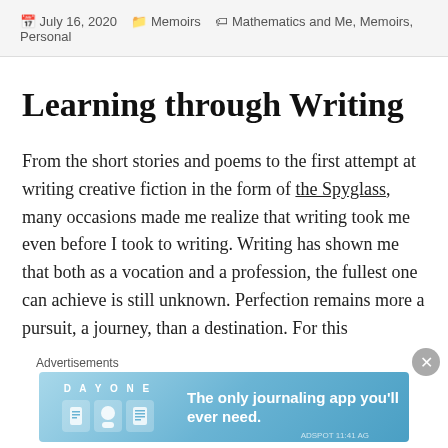July 16, 2020  Memoirs  Mathematics and Me, Memoirs, Personal
Learning through Writing
From the short stories and poems to the first attempt at writing creative fiction in the form of the Spyglass, many occasions made me realize that writing took me even before I took to writing. Writing has shown me that both as a vocation and a profession, the fullest one can achieve is still unknown. Perfection remains more a pursuit, a journey, than a destination. For this
[Figure (other): Day One journaling app advertisement banner with blue gradient background, icons, and tagline 'The only journaling app you'll ever need.']